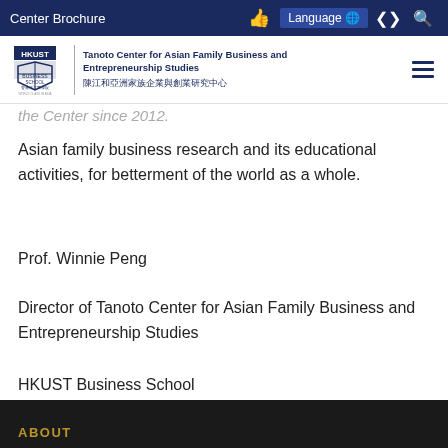Center Brochure
[Figure (logo): HKUST Business School logo with WORLD CLASS IN ASIA text, alongside Tanoto Center for Asian Family Business and Entrepreneurship Studies / 陳江和亞洲家族企業與創業研究中心 logotype]
the Center since 2012.
Asian family business research and its educational activities, for betterment of the world as a whole.
Prof. Winnie Peng
Director of Tanoto Center for Asian Family Business and Entrepreneurship Studies
HKUST Business School
ABOUT